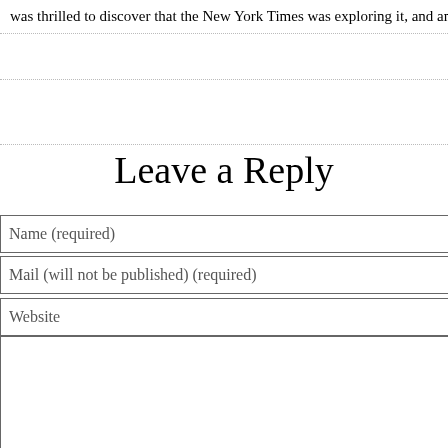was thrilled to discover that the New York Times was exploring it, and amu…
Leave a Reply
Name (required)
Mail (will not be published) (required)
Website